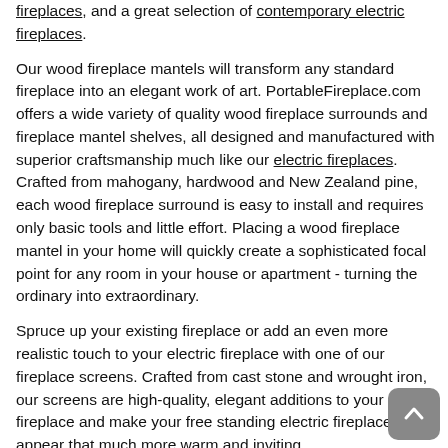fireplaces, and a great selection of contemporary electric fireplaces.
Our wood fireplace mantels will transform any standard fireplace into an elegant work of art. PortableFireplace.com offers a wide variety of quality wood fireplace surrounds and fireplace mantel shelves, all designed and manufactured with superior craftsmanship much like our electric fireplaces. Crafted from mahogany, hardwood and New Zealand pine, each wood fireplace surround is easy to install and requires only basic tools and little effort. Placing a wood fireplace mantel in your home will quickly create a sophisticated focal point for any room in your house or apartment - turning the ordinary into extraordinary.
Spruce up your existing fireplace or add an even more realistic touch to your electric fireplace with one of our fireplace screens. Crafted from cast stone and wrought iron, our screens are high-quality, elegant additions to your fireplace and make your free standing electric fireplace appear that much more warm and inviting.
Our beautifully detailed screens are a great accent for our fireplaces and mantels. They also are perfect for sprucing up